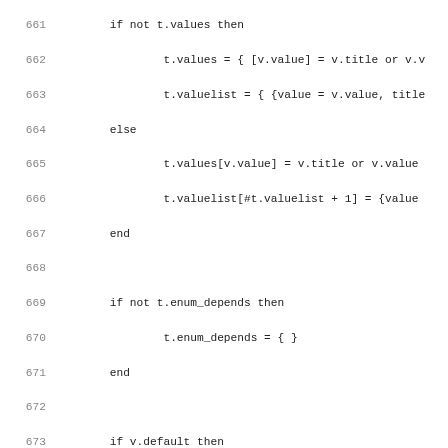[Figure (other): Source code listing lines 661-692+, showing Lua code for handling enum values, defaults, and dependencies.]